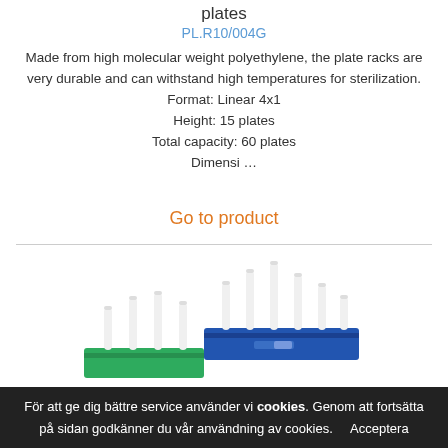plates
PL.R10/004G
Made from high molecular weight polyethylene, the plate racks are very durable and can withstand high temperatures for sterilization.
Format: Linear 4x1
Height: 15 plates
Total capacity: 60 plates
Dimensi …
Go to product
[Figure (photo): Photo of plate racks — blue and green multi-peg laboratory plate rack holders with white vertical pegs]
För att ge dig bättre service använder vi cookies. Genom att fortsätta på sidan godkänner du vår användning av cookies.   Acceptera